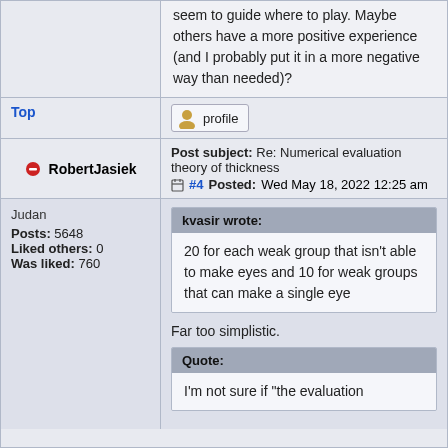seem to guide where to play. Maybe others have a more positive experience (and I probably put it in a more negative way than needed)?
Top
[Figure (other): Profile button with user icon]
Post subject: Re: Numerical evaluation theory of thickness  #4 Posted: Wed May 18, 2022 12:25 am
RobertJasiek
Judan
Posts: 5648
Liked others: 0
Was liked: 760
kvasir wrote:
20 for each weak group that isn't able to make eyes and 10 for weak groups that can make a single eye
Far too simplistic.
Quote:
I'm not sure if "the evaluation